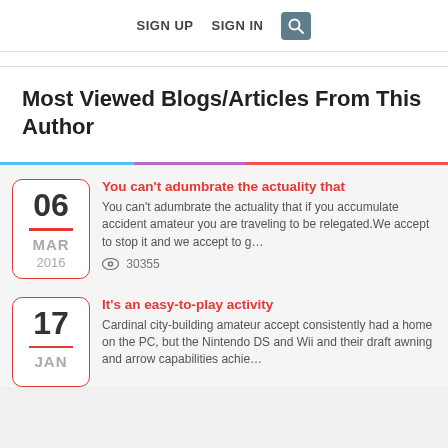SIGN UP  SIGN IN  🔍
Most Viewed Blogs/Articles From This Author
You can't adumbrate the actuality that
You can't adumbrate the actuality that if you accumulate accident amateur you are traveling to be relegated.We accept to stop it and we accept to g…
👁 30355
It's an easy-to-play activity
Cardinal city-building amateur accept consistently had a home on the PC, but the Nintendo DS and Wii and their draft awning and arrow capabilities achie…